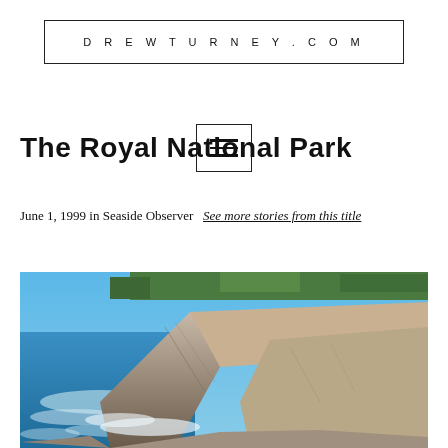DREWTURNEY.COM
[Figure (other): Hamburger menu icon inside a bordered box]
The Royal National Park
June 1, 1999 in Seaside Observer  See more stories from this title
[Figure (photo): Coastal cliffs with ocean waves crashing against rocky limestone cliffs under a clear blue sky, vegetation visible on cliff tops — Royal National Park coastal scenery]